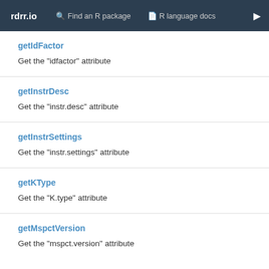rdrr.io   Find an R package   R language docs
getIdFactor
Get the "idfactor" attribute
getInstrDesc
Get the "instr.desc" attribute
getInstrSettings
Get the "instr.settings" attribute
getKType
Get the "K.type" attribute
getMspctVersion
Get the "mspct.version" attribute